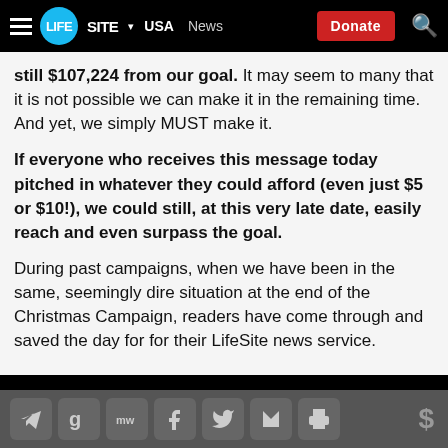LifeSite | USA | News | Donate
still $107,224 from our goal. It may seem to many that it is not possible we can make it in the remaining time. And yet, we simply MUST make it.
If everyone who receives this message today pitched in whatever they could afford (even just $5 or $10!), we could still, at this very late date, easily reach and even surpass the goal.
During past campaigns, when we have been in the same, seemingly dire situation at the end of the Christmas Campaign, readers have come through and saved the day for for their LifeSite news service.
Social share icons and donate toolbar